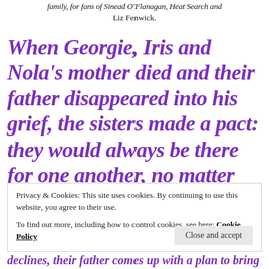family, for fans of Sinead O'Flanagan, Heat Search and Liz Fenwick.
When Georgie, Iris and Nola's mother died and their father disappeared into his grief, the sisters made a pact: they would always be there for one another, no matter
Privacy & Cookies: This site uses cookies. By continuing to use this website, you agree to their use. To find out more, including how to control cookies, see here: Cookie Policy
declines, their father comes up with a plan to bring